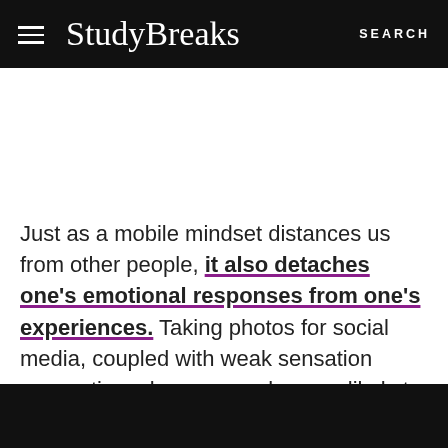StudyBreaks  SEARCH
Just as a mobile mindset distances us from other people, it also detaches one’s emotional responses from one’s experiences. Taking photos for social media, coupled with weak sensation connections, leaves people more likely to recall their own memories from a third